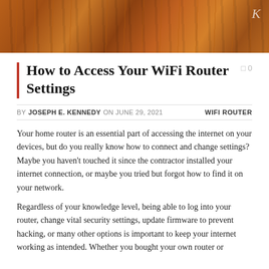[Figure (photo): Hero image of wooden planks or wooden surface in warm reddish-brown tones with a 'K' watermark in the top-right corner]
How to Access Your WiFi Router Settings
BY JOSEPH E. KENNEDY ON JUNE 29, 2021   WIFI ROUTER
Your home router is an essential part of accessing the internet on your devices, but do you really know how to connect and change settings? Maybe you haven't touched it since the contractor installed your internet connection, or maybe you tried but forgot how to find it on your network.
Regardless of your knowledge level, being able to log into your router, change vital security settings, update firmware to prevent hacking, or many other options is important to keep your internet working as intended. Whether you bought your own router or